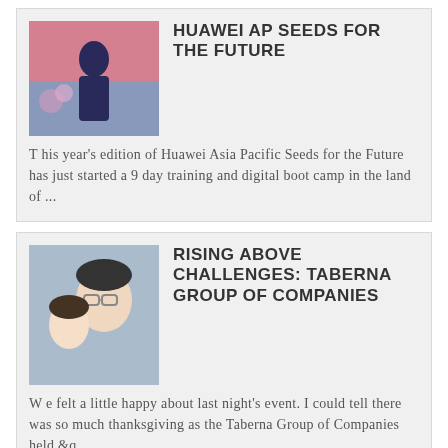[Figure (photo): Man in suit speaking at podium with flowers, pink/purple background]
HUAWEI AP SEEDS FOR THE FUTURE
T his year's edition of Huawei Asia Pacific Seeds for the Future has just started a 9 day training and digital boot camp in the land of ...
[Figure (photo): Man with glasses and a woman smiling, close-up portrait]
RISING ABOVE CHALLENGES: TABERNA GROUP OF COMPANIES
W e felt a little happy about last night's event. I could tell there was so much thanksgiving as the Taberna Group of Companies held &q...
[Figure (photo): Person standing near colorful backdrop]
HITTING CLOSE TO HOME: GARRETT BOLDEN TAKES